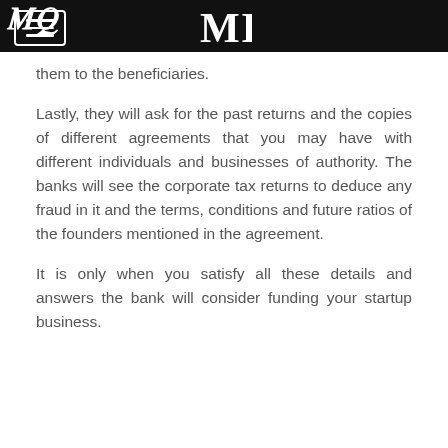MQ (logo)
them to the beneficiaries.
Lastly, they will ask for the past returns and the copies of different agreements that you may have with different individuals and businesses of authority. The banks will see the corporate tax returns to deduce any fraud in it and the terms, conditions and future ratios of the founders mentioned in the agreement.
It is only when you satisfy all these details and answers the bank will consider funding your startup business.